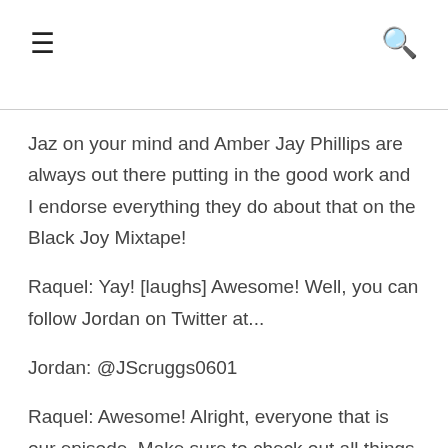≡  🔍
Jaz on your mind and Amber Jay Phillips are always out there putting in the good work and I endorse everything they do about that on the Black Joy Mixtape!
Raquel: Yay! [laughs] Awesome! Well, you can follow Jordan on Twitter at...
Jordan: @JScruggs0601
Raquel: Awesome! Alright, everyone that is our episode. Make sure to check out all things amazing, black, person of color, dangerous, queer, trans all that good